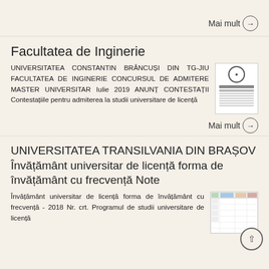Mai mult →
Facultatea de Inginerie
UNIVERSITATEA CONSTANTIN BRÂNCUȘI DIN TG-JIU FACULTATEA DE INGINERIE CONCURSUL DE ADMITERE MASTER UNIVERSITAR Iulie 2019 ANUNȚ CONTESTAȚII Contestațiile pentru admiterea la studii universitare de licență
Mai mult →
UNIVERSITATEA TRANSILVANIA DIN BRAȘOV Învățământ universitar de licență forma de învățământ cu frecvență Note
Învățământ universitar de licență forma de învățământ cu frecvență - 2018 Nr. crt. Programul de studii universitare de licență